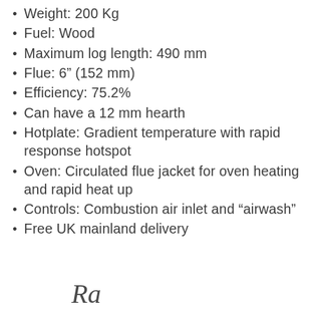Weight: 200 Kg
Fuel: Wood
Maximum log length: 490 mm
Flue: 6” (152 mm)
Efficiency: 75.2%
Can have a 12 mm hearth
Hotplate: Gradient temperature with rapid response hotspot
Oven: Circulated flue jacket for oven heating and rapid heat up
Controls: Combustion air inlet and “airwash”
Free UK mainland delivery
[Figure (logo): Decorative script logo at bottom of page]